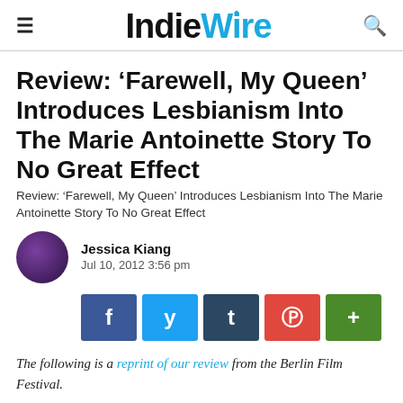IndieWire
Review: ‘Farewell, My Queen’ Introduces Lesbianism Into The Marie Antoinette Story To No Great Effect
Review: ‘Farewell, My Queen’ Introduces Lesbianism Into The Marie Antoinette Story To No Great Effect
Jessica Kiang
Jul 10, 2012 3:56 pm
[Figure (infographic): Social share buttons: Facebook, Twitter, Tumblr, Pinterest, More]
The following is a reprint of our review from the Berlin Film Festival.